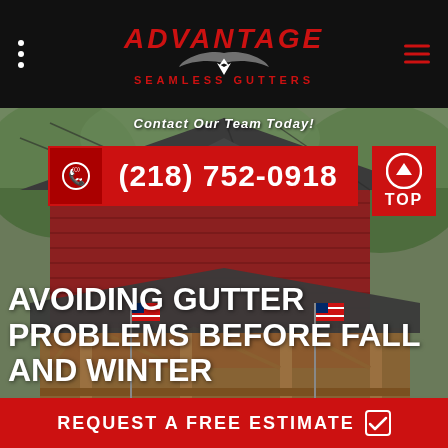[Figure (logo): Advantage Seamless Gutters logo with eagle wings, red text on black background]
[Figure (photo): Red log cabin house with covered porch, American flags, grey shingle roof, surrounded by green trees]
Contact Our Team Today!
(218) 752-0918
AVOIDING GUTTER PROBLEMS BEFORE FALL AND WINTER
REQUEST A FREE ESTIMATE